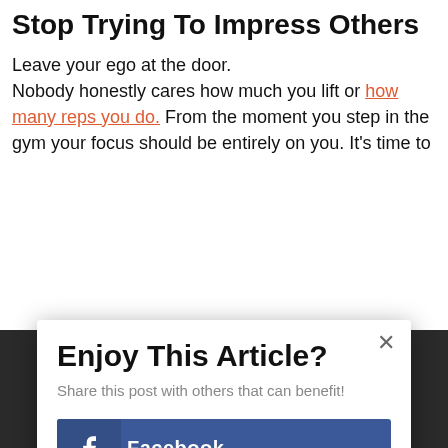Stop Trying To Impress Others
Leave your ego at the door.
Nobody honestly cares how much you lift or how many reps you do. From the moment you step in the gym your focus should be entirely on you. It's time to
Enjoy This Article?
Share this post with others that can benefit!
Facebook
Twitter
Google+
Pinterest